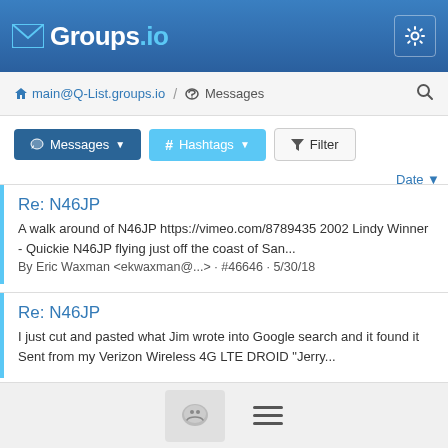Groups.io
main@Q-List.groups.io / Messages
Messages | # Hashtags | Filter
Date
Re: N46JP
A walk around of N46JP https://vimeo.com/8789435 2002 Lindy Winner - Quickie N46JP flying just off the coast of San...
By Eric Waxman <ekwaxman@...> · #46646 · 5/30/18
Re: N46JP
I just cut and pasted what Jim wrote into Google search and it found it Sent from my Verizon Wireless 4G LTE DROID "Jerry...